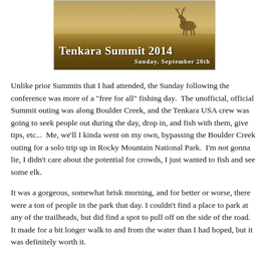[Figure (photo): Banner image showing an elk in a golden grass field with text 'Tenkara Summit 2014 Sunday, September 28th' overlaid in white bold letters]
Unlike prior Summits that I had attended, the Sunday following the conference was more of a "free for all" fishing day.  The unofficial, official Summit outing was along Boulder Creek, and the Tenkara USA crew was going to seek people out during the day, drop in, and fish with them, give tips, etc...  Me, we'll I kinda went on my own, bypassing the Boulder Creek outing for a solo trip up in Rocky Mountain National Park.  I'm not gonna lie, I didn't care about the potential for crowds, I just wanted to fish and see some elk.
It was a gorgeous, somewhat brisk morning, and for better or worse, there were a ton of people in the park that day. I couldn't find a place to park at any of the trailheads, but did find a spot to pull off on the side of the road.  It made for a bit longer walk to and from the water than I had hoped, but it was definitely worth it.